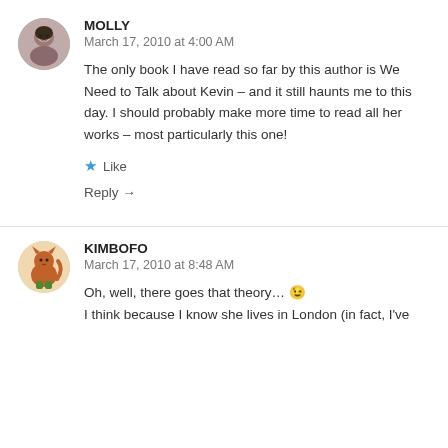MOLLY
March 17, 2010 at 4:00 AM
The only book I have read so far by this author is We Need to Talk about Kevin – and it still haunts me to this day. I should probably make more time to read all her works – most particularly this one!
★ Like
Reply →
KIMBOFO
March 17, 2010 at 8:48 AM
Oh, well, there goes that theory… 😉
I think because I know she lives in London (in fact, I've